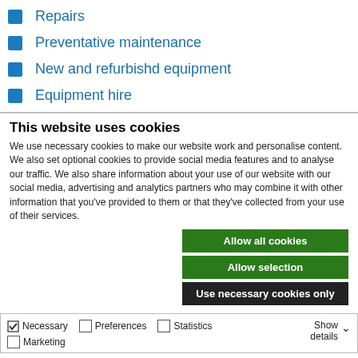Repairs
Preventative maintenance
New and refurbishd equipment
Equipment hire
This website uses cookies
We use necessary cookies to make our website work and personalise content. We also set optional cookies to provide social media features and to analyse our traffic. We also share information about your use of our website with our social media, advertising and analytics partners who may combine it with other information that you've provided to them or that they've collected from your use of their services.
Allow all cookies
Allow selection
Use necessary cookies only
Necessary  Preferences  Statistics  Marketing  Show details